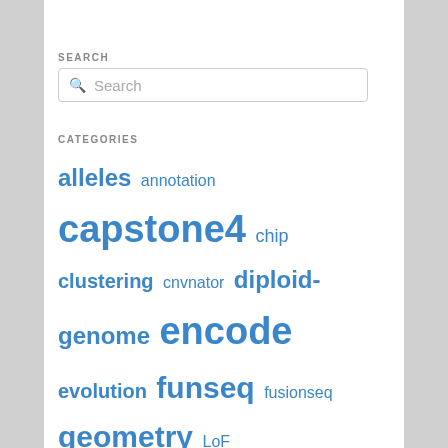SEARCH
Search (search box UI element)
CATEGORIES
alleles annotation capstone4 chip clustering cnvnator diploid-genome encode evolution funseq fusionseq geometry LoF metagenomics microarrays misc modencode molmov networks non-coding privacy privaseq3 proteomics pseudogenes pubnet RNA-seq STRESS structures SVs tf_binding Uncategorized VAT